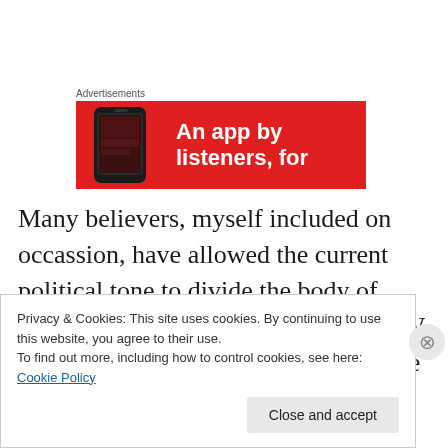[Figure (screenshot): Red advertisement banner for a music/podcast app showing 'An app by listeners, for' text in white bold on red background, with a phone device image on the left side.]
Many believers, myself included on occassion, have allowed the current political tone to divide the body of Christ. We have an “Us vs. Them”, “W vs. Obama” mentality. “We” don’t like it when “they” talk about “our
Privacy & Cookies: This site uses cookies. By continuing to use this website, you agree to their use.
To find out more, including how to control cookies, see here: Cookie Policy